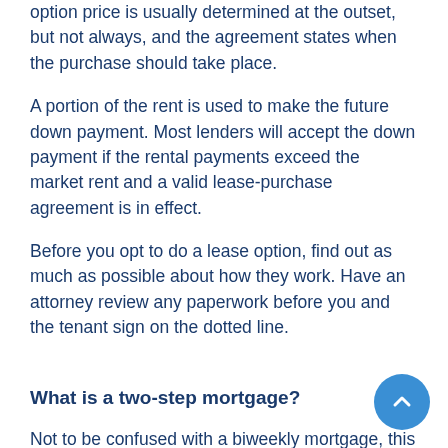option price is usually determined at the outset, but not always, and the agreement states when the purchase should take place.
A portion of the rent is used to make the future down payment. Most lenders will accept the down payment if the rental payments exceed the market rent and a valid lease-purchase agreement is in effect.
Before you opt to do a lease option, find out as much as possible about how they work. Have an attorney review any paperwork before you and the tenant sign on the dotted line.
What is a two-step mortgage?
Not to be confused with a biweekly mortgage, this type of home loan is also known as 5/25s and 7/23s. It has one interest rate for part of the life of the mortgage and a different rate for the remainder of the loan.